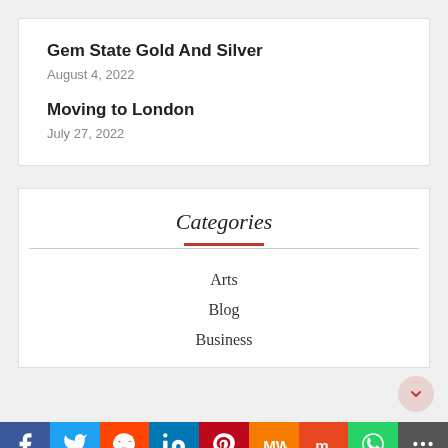Gem State Gold And Silver
August 4, 2022
Moving to London
July 27, 2022
Categories
Arts
Blog
Business